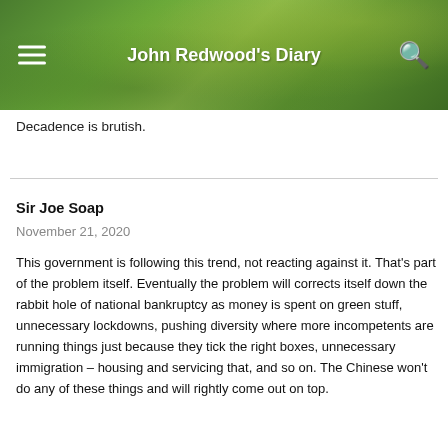John Redwood's Diary
Decadence is brutish.
Sir Joe Soap
November 21, 2020
This government is following this trend, not reacting against it. That's part of the problem itself. Eventually the problem will corrects itself down the rabbit hole of national bankruptcy as money is spent on green stuff, unnecessary lockdowns, pushing diversity where more incompetents are running things just because they tick the right boxes, unnecessary immigration – housing and servicing that, and so on. The Chinese won't do any of these things and will rightly come out on top.